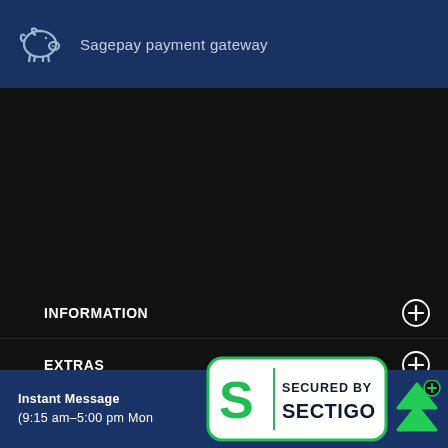[Figure (logo): Sagepay piggy bank logo icon with text 'Sagepay payment gateway' on dark blue header band]
INFORMATION
EXTRAS
FOLLOW US
Instant Message (9:15 am-5:00 pm Mon
[Figure (logo): Secured by Sectigo badge with green S logo and text SECURED BY SECTIGO in white rounded rectangle]